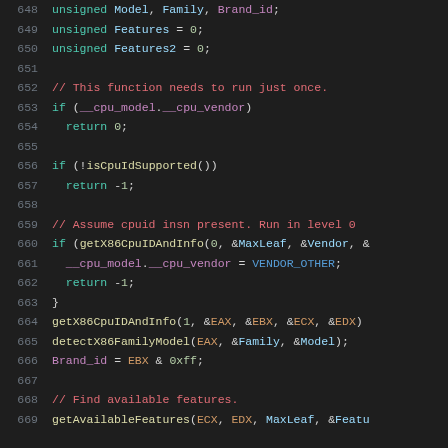[Figure (screenshot): Source code listing in a dark IDE/editor showing C code lines 648-669 with syntax highlighting. Line numbers in gray, keywords in teal, comments in red, function calls in yellow, variables in blue, literals in light green, special identifiers in purple.]